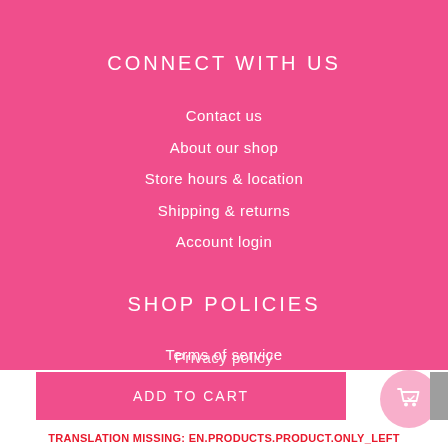CONNECT WITH US
Contact us
About our shop
Store hours & location
Shipping & returns
Account login
SHOP POLICIES
Terms of service
Privacy policy
ADD TO CART
TRANSLATION MISSING: EN.PRODUCTS.PRODUCT.ONLY_LEFT